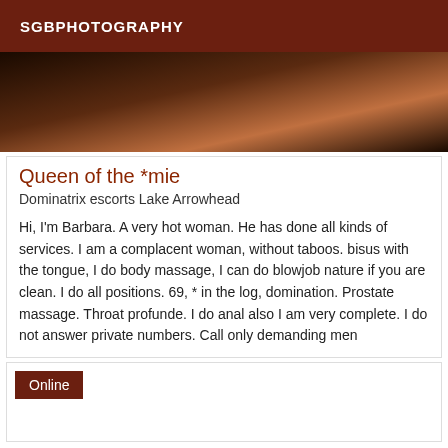SGBPHOTOGRAPHY
[Figure (photo): Dark close-up photograph with warm brown and orange tones]
Queen of the *mie
Dominatrix escorts Lake Arrowhead
Hi, I'm Barbara. A very hot woman. He has done all kinds of services. I am a complacent woman, without taboos. bisus with the tongue, I do body massage, I can do blowjob nature if you are clean. I do all positions. 69, * in the log, domination. Prostate massage. Throat profunde. I do anal also I am very complete. I do not answer private numbers. Call only demanding men
Online